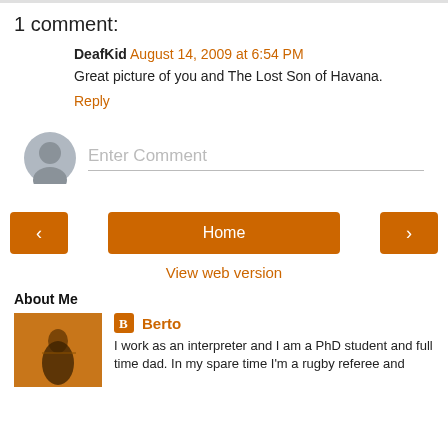1 comment:
DeafKid  August 14, 2009 at 6:54 PM
Great picture of you and The Lost Son of Havana.
Reply
Enter Comment
Home
View web version
About Me
[Figure (photo): Blogger profile photo showing a silhouette against an orange background]
Berto
I work as an interpreter and I am a PhD student and full time dad. In my spare time I'm a rugby referee and